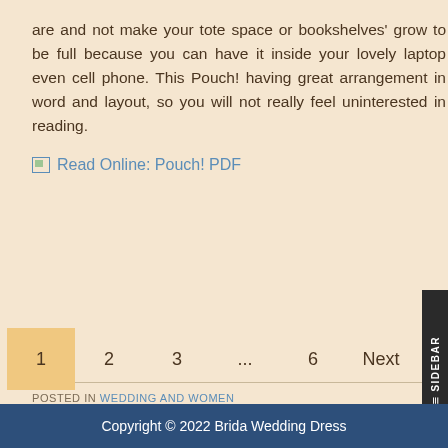are and not make your tote space or bookshelves' grow to be full because you can have it inside your lovely laptop even cell phone. This Pouch! having great arrangement in word and layout, so you will not really feel uninterested in reading.
Read Online: Pouch! PDF
POSTED IN WEDDING AND WOMEN
1 2 3 ... 6 Next
Copyright © 2022 Brida Wedding Dress